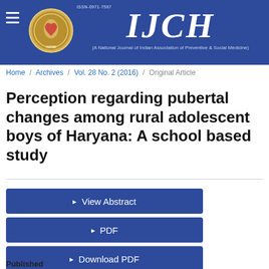IJCH — A National Journal of Indian Association of Preventive & Social Medicine | ISSN-0971-7587
Home / Archives / Vol. 28 No. 2 (2016) / Original Article
Perception regarding pubertal changes among rural adolescent boys of Haryana: A school based study
View Abstract
PDF
Download PDF
Published